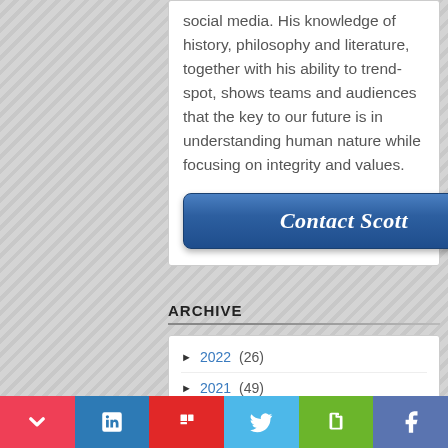social media. His knowledge of history, philosophy and literature, together with his ability to trend-spot, shows teams and audiences that the key to our future is in understanding human nature while focusing on integrity and values.
[Figure (other): Blue gradient button labeled 'Contact Scott']
ARCHIVE
► 2022 (26)
► 2021 (49)
► 2020 (49)
► 2019 (60)
► 2018 (57)
Pocket | LinkedIn | Flipboard | Twitter | Evernote | Facebook